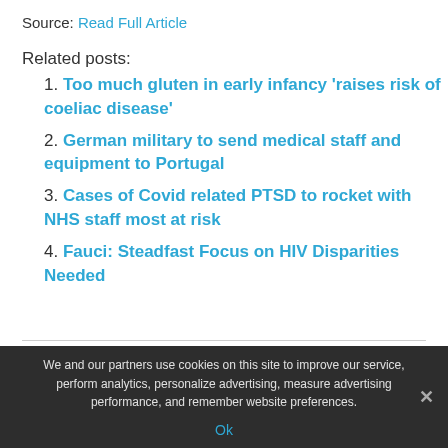Source: Read Full Article
Related posts:
1. Too much gluten in early infancy 'raises risk of coeliac disease'
2. German military to send medical staff and equipment to Portugal
3. Cases of Covid related PTSD to rocket with NHS staff most at risk
4. Fauci: Steadfast Focus on HIV Disparities Needed
We and our partners use cookies on this site to improve our service, perform analytics, personalize advertising, measure advertising performance, and remember website preferences.
Ok